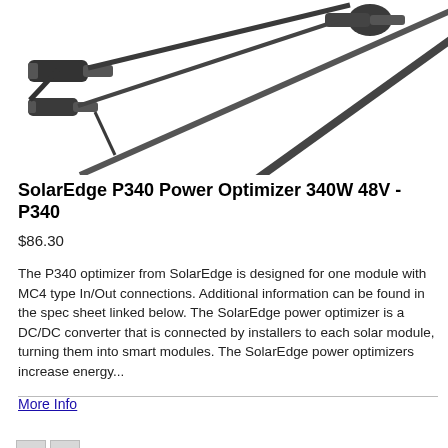[Figure (photo): Product photo of SolarEdge P340 Power Optimizer showing MC4 type connectors and cables on a white background]
SolarEdge P340 Power Optimizer 340W 48V - P340
$86.30
The P340 optimizer from SolarEdge is designed for one module with MC4 type In/Out connections. Additional information can be found in the spec sheet linked below. The SolarEdge power optimizer is a DC/DC converter that is connected by installers to each solar module, turning them into smart modules. The SolarEdge power optimizers increase energy...
More Info
Add to Cart